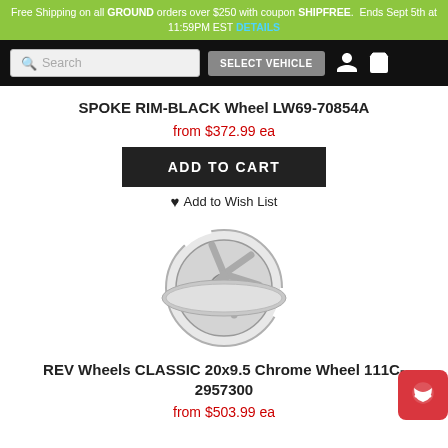Free Shipping on all GROUND orders over $250 with coupon SHIPFREE. Ends Sept 5th at 11:59PM EST DETAILS
[Figure (screenshot): Navigation bar with search box, SELECT VEHICLE button, account icon, and cart icon on black background]
SPOKE RIM-BLACK Wheel LW69-70854A
from $372.99 ea
[Figure (other): ADD TO CART button (black)]
♥ Add to Wish List
[Figure (photo): Chrome 5-spoke classic wheel on white background]
REV Wheels CLASSIC 20x9.5 Chrome Wheel 111C-2957300
from $503.99 ea